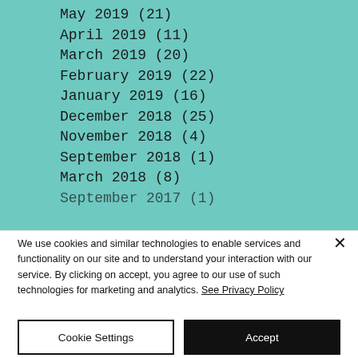May 2019 (21)
April 2019 (11)
March 2019 (20)
February 2019 (22)
January 2019 (16)
December 2018 (25)
November 2018 (4)
September 2018 (1)
March 2018 (8)
September 2017 (1)
We use cookies and similar technologies to enable services and functionality on our site and to understand your interaction with our service. By clicking on accept, you agree to our use of such technologies for marketing and analytics. See Privacy Policy
Cookie Settings
Accept